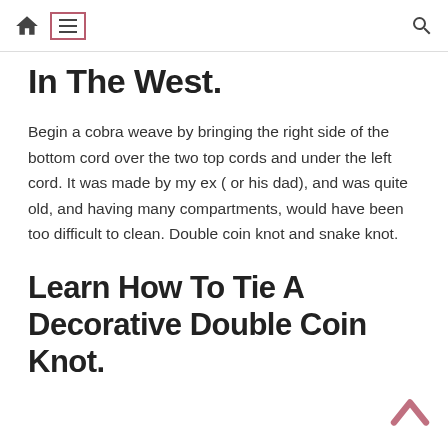Navigation bar with home icon, menu icon, and search icon
In The West.
Begin a cobra weave by bringing the right side of the bottom cord over the two top cords and under the left cord. It was made by my ex ( or his dad), and was quite old, and having many compartments, would have been too difficult to clean. Double coin knot and snake knot.
Learn How To Tie A Decorative Double Coin Knot.